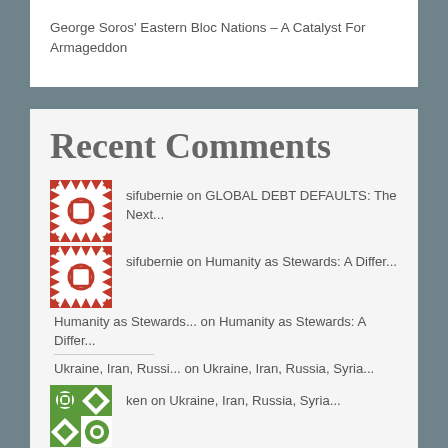George Soros' Eastern Bloc Nations – A Catalyst For Armageddon
Recent Comments
sifubernie on GLOBAL DEBT DEFAULTS: The Next...
sifubernie on Humanity as Stewards: A Differ...
Humanity as Stewards... on Humanity as Stewards: A Differ...
Ukraine, Iran, Russi... on Ukraine, Iran, Russia, Syria...
ken on Ukraine, Iran, Russia, Syria...